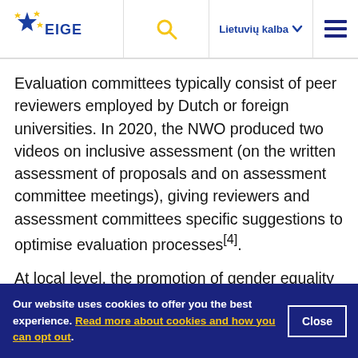EIGE | Lietuvių kalba
Evaluation committees typically consist of peer reviewers employed by Dutch or foreign universities. In 2020, the NWO produced two videos on inclusive assessment (on the written assessment of proposals and on assessment committee meetings), giving reviewers and assessment committees specific suggestions to optimise evaluation processes[4].
At local level, the promotion of gender equality in
Our website uses cookies to offer you the best experience. Read more about cookies and how you can opt out.